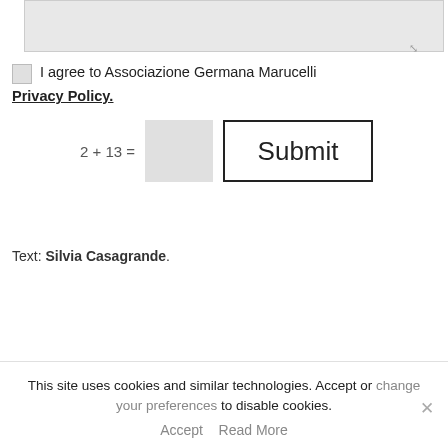[Figure (screenshot): Grey textarea input box with resize handle icon in bottom-right corner]
I agree to Associazione Germana Marucelli
Privacy Policy.
2 + 13 = [input box] [Submit button]
Text: Silvia Casagrande.
This site uses cookies and similar technologies. Accept or change your preferences to disable cookies.
Accept   Read More